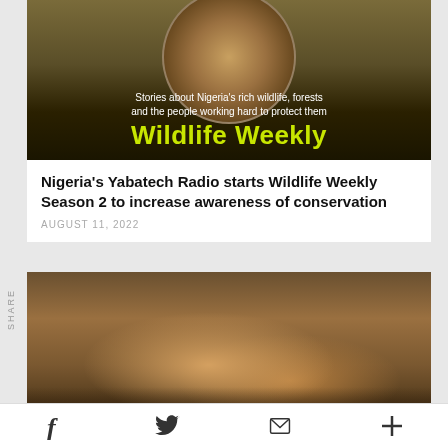[Figure (illustration): Wildlife Weekly radio show logo banner: lion head in circle on dark background with text 'Stories about Nigeria’s rich wildlife, forests and the people working hard to protect them' and large yellow-green 'Wildlife Weekly' title]
Nigeria’s Yabatech Radio starts Wildlife Weekly Season 2 to increase awareness of conservation
AUGUST 11, 2022
[Figure (photo): Photo of a lioness with two cubs in dry savanna grassland, golden afternoon light]
World Lion Day: Nigeria’s most iconic species now on the
SHARE
f
✉
+